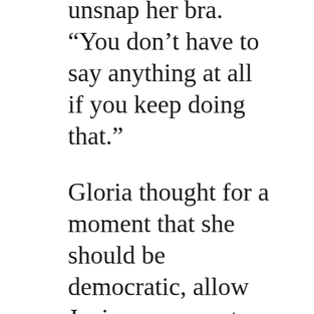unsnap her bra. “You don’t have to say anything at all if you keep doing that.”
Gloria thought for a moment that she should be democratic, allow Janice a moment, or remove some